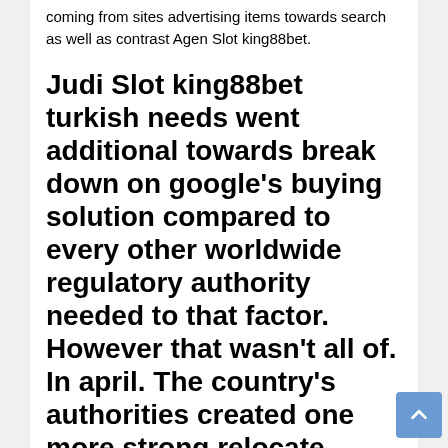coming from sites advertising items towards search as well as contrast Agen Slot king88bet.
Judi Slot king88bet turkish needs went additional towards break down on google's buying solution compared to every other worldwide regulatory authority needed to that factor. However that wasn't all of. In april. The country's authorities created one more strong relocate. Stating the company's profitable hunt work for